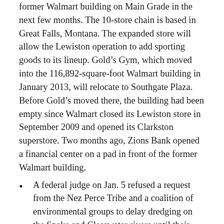former Walmart building on Main Grade in the next few months. The 10-store chain is based in Great Falls, Montana. The expanded store will allow the Lewiston operation to add sporting goods to its lineup. Gold's Gym, which moved into the 116,892-square-foot Walmart building in January 2013, will relocate to Southgate Plaza. Before Gold's moved there, the building had been empty since Walmart closed its Lewiston store in September 2009 and opened its Clarkston superstore. Two months ago, Zions Bank opened a financial center on a pad in front of the former Walmart building.
A federal judge on Jan. 5 refused a request from the Nez Perce Tribe and a coalition of environmental groups to delay dredging on the Snake and Clearwater rivers until their lawsuit seeking to stop the work could be heard. American Construction Co. of Tacoma, a contractor for the Army Corps of Engineers, began to dredge the shipping channels near the ports of